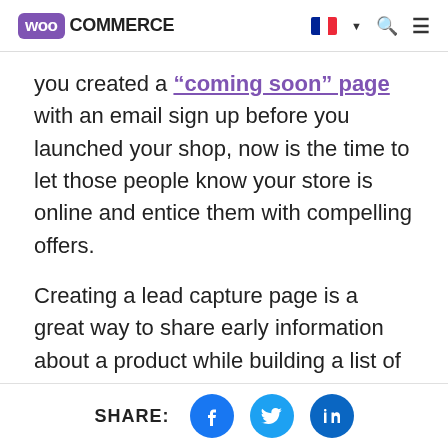WooCommerce
you created a "coming soon" page with an email sign up before you launched your shop, now is the time to let those people know your store is online and entice them with compelling offers.
Creating a lead capture page is a great way to share early information about a product while building a list of interested potential buyers. Even if you didn't create a page before you launched your store, you can use the same strate...
SHARE: